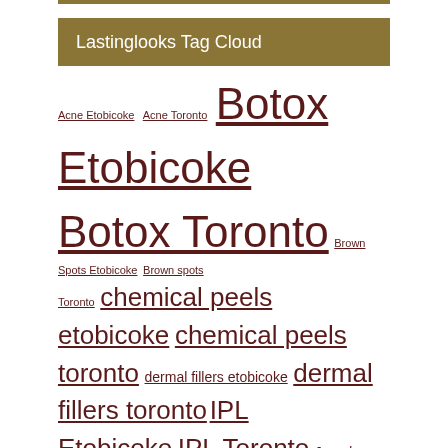Lastinglooks Tag Cloud
Acne Etobicoke   Acne Toronto   Botox Etobicoke   Botox Toronto   Brown Spots Etobicoke   Brown spots Toronto   chemical peels etobicoke   chemical peels toronto   dermal fillers etobicoke   dermal fillers toronto   IPL Etobicoke   IPL Toronto   Juvederm Etobicoke   Juvederm Toronto   Laser Hair removal Etobicoke   Laser Hair Removal Toronto   Laser tattoo removal   laser tattoo removal etobicoke   Laser tattoo removal toronto   Latisse etobicoke   Latisse Toronto   lip augmentation toronto   lip filler toronto   micro-needling toronto   microneedling toronto   Non surgical facelift   Peels Toronto   Photo facial Etobicoke   Photo Facial Toronto   Photorejuvenation Toronto   restylane toronto   Rosacea Toronto   Skin Tightening Etobicoke   Skin tightening Toronto   Tattoo Removal Toronto   Teosyal Etobicoke   Teosyal